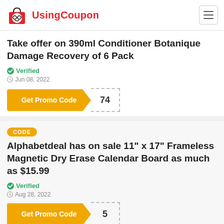UsingCoupon
Take offer on 390ml Conditioner Botanique Damage Recovery of 6 Pack
Verified
Jun 08, 2022
Get Promo Code  74
CODE
Alphabetdeal has on sale 11" x 17" Frameless Magnetic Dry Erase Calendar Board as much as $15.99
Verified
Aug 28, 2022
Get Promo Code  5